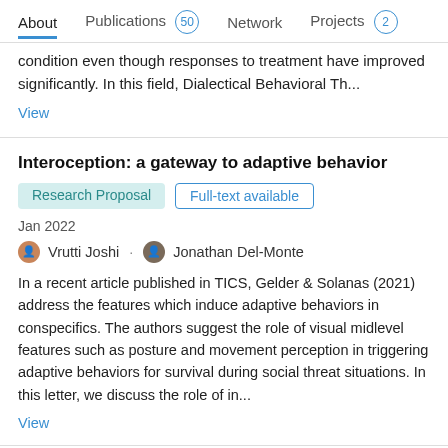About  Publications 50  Network  Projects 2
condition even though responses to treatment have improved significantly. In this field, Dialectical Behavioral Th...
View
Interoception: a gateway to adaptive behavior
Research Proposal  Full-text available
Jan 2022
Vrutti Joshi · Jonathan Del-Monte
In a recent article published in TICS, Gelder & Solanas (2021) address the features which induce adaptive behaviors in conspecifics. The authors suggest the role of visual midlevel features such as posture and movement perception in triggering adaptive behaviors for survival during social threat situations. In this letter, we discuss the role of in...
View
Bayesian approach to cognitive vulnerabilities for